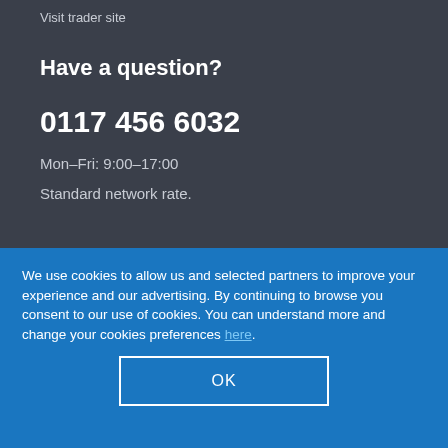Visit trader site
Have a question?
0117 456 6032
Mon–Fri: 9:00–17:00
Standard network rate.
We use cookies to allow us and selected partners to improve your experience and our advertising. By continuing to browse you consent to our use of cookies. You can understand more and change your cookies preferences here.
OK